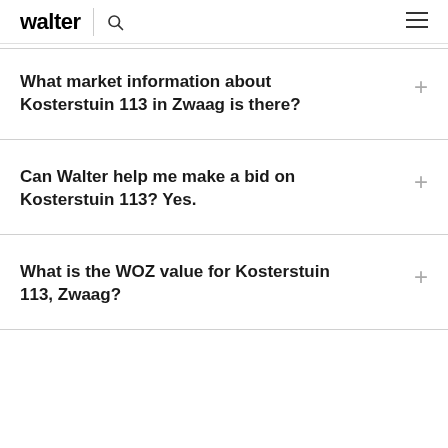walter
What market information about Kosterstuin 113 in Zwaag is there?
Can Walter help me make a bid on Kosterstuin 113? Yes.
What is the WOZ value for Kosterstuin 113, Zwaag?